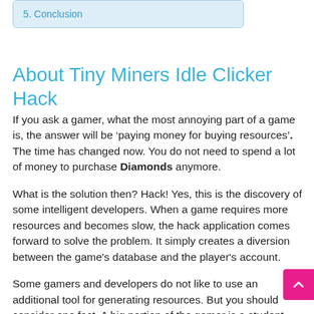5. Conclusion
About Tiny Miners Idle Clicker Hack
If you ask a gamer, what the most annoying part of a game is, the answer will be ‘paying money for buying resources’. The time has changed now. You do not need to spend a lot of money to purchase Diamonds anymore.
What is the solution then? Hack! Yes, this is the discovery of some intelligent developers. When a game requires more resources and becomes slow, the hack application comes forward to solve the problem. It simply creates a diversion between the game's database and the player's account.
Some gamers and developers do not like to use an additional tool for generating resources. But you should consider one fact. A big portion of the gamer is a student. They hardly get money from their parents. The craze of the game should not be stopped due to lack of money. This is